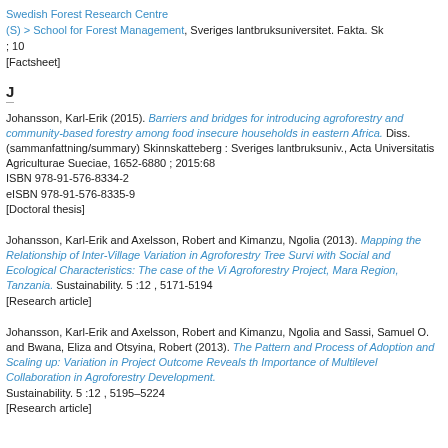Swedish Forest Research Centre (S) > School for Forest Management, Sveriges lantbruksuniversitet. Fakta. Sk ; 10 [Factsheet]
J
Johansson, Karl-Erik (2015). Barriers and bridges for introducing agroforestry and community-based forestry among food insecure households in eastern Africa. Diss. (sammanfattning/summary) Skinnskatteberg : Sveriges lantbruksuniv., Acta Universitatis Agriculturae Sueciae, 1652-6880 ; 2015:68 ISBN 978-91-576-8334-2 eISBN 978-91-576-8335-9 [Doctoral thesis]
Johansson, Karl-Erik and Axelsson, Robert and Kimanzu, Ngolia (2013). Mapping the Relationship of Inter-Village Variation in Agroforestry Tree Survival with Social and Ecological Characteristics: The case of the Vi Agroforestry Project, Mara Region, Tanzania. Sustainability. 5 :12 , 5171-5194 [Research article]
Johansson, Karl-Erik and Axelsson, Robert and Kimanzu, Ngolia and Sassi, Samuel O. and Bwana, Eliza and Otsyina, Robert (2013). The Pattern and Process of Adoption and Scaling up: Variation in Project Outcome Reveals the Importance of Multilevel Collaboration in Agroforestry Development. Sustainability. 5 :12 , 5195–5224 [Research article]